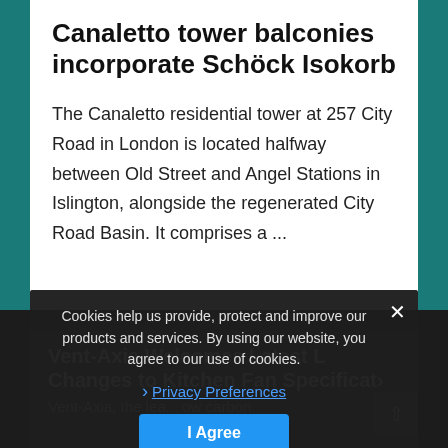Canaletto tower balconies incorporate Schöck Isokorb
The Canaletto residential tower at 257 City Road in London is located halfway between Old Street and Angel Stations in Islington, alongside the regenerated City Road Basin.  It comprises a ...
Vent-Axia Welcomes Latest L Changes to Kitchen Fan Specificat›
Cookies help us provide, protect and improve our products and services. By using our website, you agree to our use of cookies.
Privacy Preferences
I Agree
Vent-Axia, the lea... ow carbon